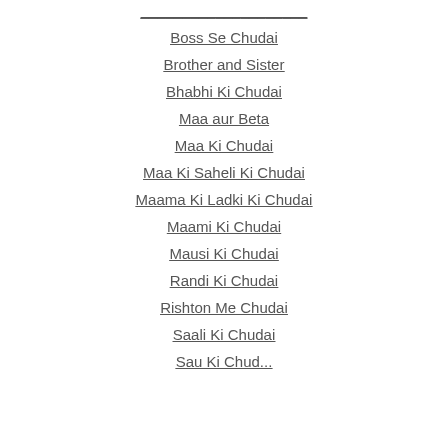Boss Se Chudai
Brother and Sister
Bhabhi Ki Chudai
Maa aur Beta
Maa Ki Chudai
Maa Ki Saheli Ki Chudai
Maama Ki Ladki Ki Chudai
Maami Ki Chudai
Mausi Ki Chudai
Randi Ki Chudai
Rishton Me Chudai
Saali Ki Chudai